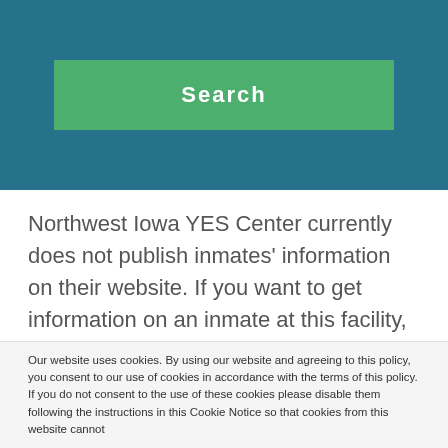[Figure (other): Teal/dark blue header band with a green Search button centered in it]
Northwest Iowa YES Center currently does not publish inmates' information on their website. If you want to get information on an inmate at this facility, you can call the jail at 712-225-2594.
You can also try using the Iowa Department of
Our website uses cookies. By using our website and agreeing to this policy, you consent to our use of cookies in accordance with the terms of this policy. If you do not consent to the use of these cookies please disable them following the instructions in this Cookie Notice so that cookies from this website cannot